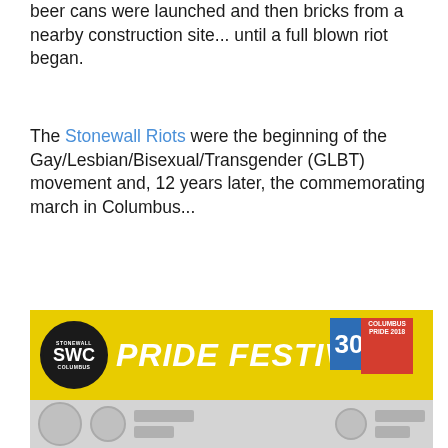beer cans were launched and then bricks from a nearby construction site... until a full blown riot began.
The Stonewall Riots were the beginning of the Gay/Lesbian/Bisexual/Transgender (GLBT) movement and, 12 years later, the commemorating march in Columbus...
[Figure (photo): Photo of a Stonewall Columbus Pride Festival banner. Yellow banner with the Stonewall SWC Columbus logo circle on the left, large white italic text reading 'PRIDE FESTIVAL', and a blue badge showing '30' with a red Columbus Pride badge to the right. Below is a lighter grey strip with circular logos and text.]